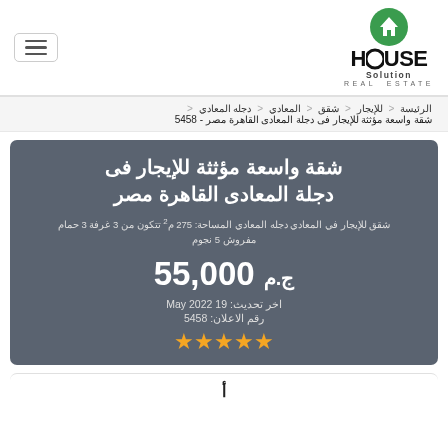[Figure (logo): House Solution Real Estate logo with green house icon and bold text]
الرئيسة ❯ للإيجار ❯ شقق ❯ المعادي ❯ دجله المعادي ❯
شقة واسعة مؤثثة للإيجار فى دجلة المعادى القاهرة مصر - 5458
شقة واسعة مؤثثة للإيجار فى دجلة المعادى القاهرة مصر
شقق للإيجار في المعادي دجله المعادي المساحة: 275 م² تتكون من 3 غرفة 3 حمام مفروش 5 نجوم
55,000 ج.م
اخر تحديث: 19 May 2022
رقم الاعلان: 5458
★★★★★